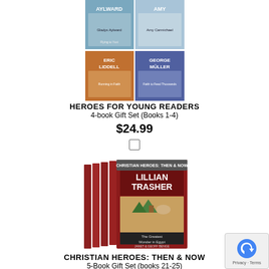[Figure (photo): 4-book gift set grid showing Heroes for Young Readers books: Gladys Aylward, Amy Carmichael, Eric Liddell, George Muller covers]
HEROES FOR YOUNG READERS
4-book Gift Set (Books 1-4)
$24.99
[Figure (other): Empty checkbox for selection]
[Figure (photo): Christian Heroes: Then & Now 5-book gift set box featuring Lillian Trasher - The Greatest Wonder in Egypt, by Janet & Geoff Benge]
CHRISTIAN HEROES: THEN & NOW
5-Book Gift Set (books 21-25)